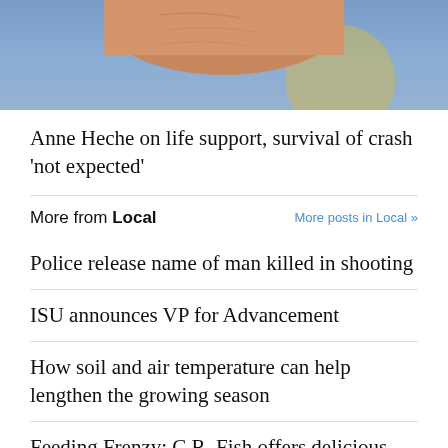[Figure (photo): Cropped photo showing hands and blue background, partial view of a person]
Anne Heche on life support, survival of crash ‘not expected’
More from Local
More posts in Local »
Police release name of man killed in shooting
ISU announces VP for Advancement
How soil and air temperature can help lengthen the growing season
Feeding Frenzy: C.R. Fish offers delicious smoked salmon bagel and huckleberry topped churro